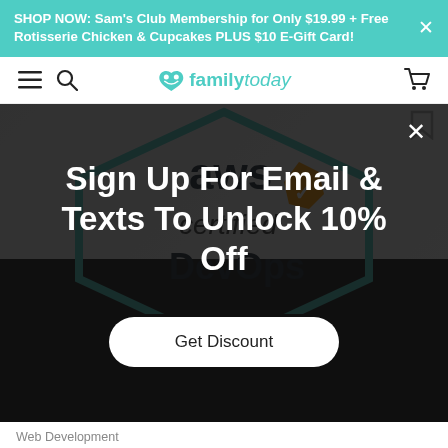SHOP NOW: Sam's Club Membership for Only $19.99 + Free Rotisserie Chicken & Cupcakes PLUS $10 E-Gift Card!
[Figure (screenshot): Family Today website navigation bar with hamburger menu, search icon, Family Today logo (teal heart icon with family text), and cart icon]
[Figure (screenshot): AWS Certified DevOps badge (hexagon shape with teal border, aws text with orange verified checkmark badge, 'certified' and 'DevOps' text) overlaid with dark modal popup]
Sign Up For Email & Texts To Unlock 10% Off
Get Discount
Web Development